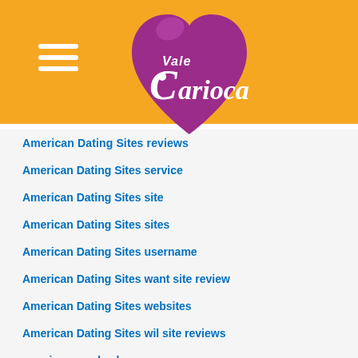[Figure (logo): Vale Carioca logo — purple heart shape with white stylized text 'Vale Carioca' on an orange header background]
American Dating Sites reviews
American Dating Sites service
American Dating Sites site
American Dating Sites sites
American Dating Sites username
American Dating Sites want site review
American Dating Sites websites
American Dating Sites wil site reviews
american payday loans
american payday loans near me
american title loans
americash loans online payday loan
americash loans payday loan
americash loans payday loan online